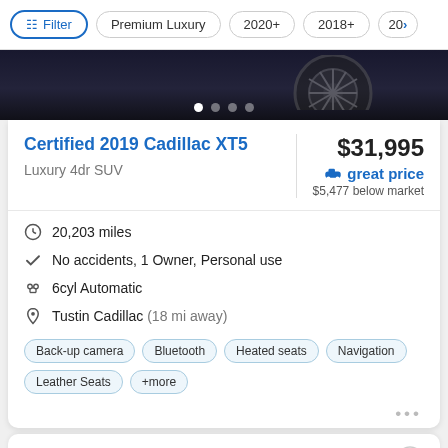Filter | Premium Luxury | 2020+ | 2018+ | 20>
[Figure (photo): Partial view of a dark-colored Cadillac XT5 SUV wheel and lower body, dark background with white carousel navigation dots below]
Certified 2019 Cadillac XT5
Luxury 4dr SUV
$31,995
great price
$5,477 below market
20,203 miles
No accidents, 1 Owner, Personal use
6cyl Automatic
Tustin Cadillac (18 mi away)
Back-up camera   Bluetooth   Heated seats   Navigation   Leather Seats   +more
New Listing